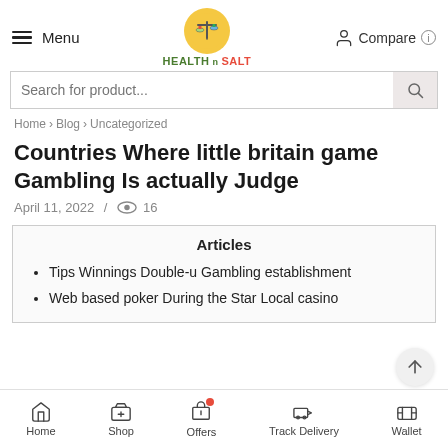Menu | HEALTH n SALT | Compare
Search for product...
Home > Blog > Uncategorized
Countries Where little britain game Gambling Is actually Judge
April 11, 2022 / 16
Articles
Tips Winnings Double-u Gambling establishment
Web based poker During the Star Local casino
Home | Shop | Offers | Track Delivery | Wallet